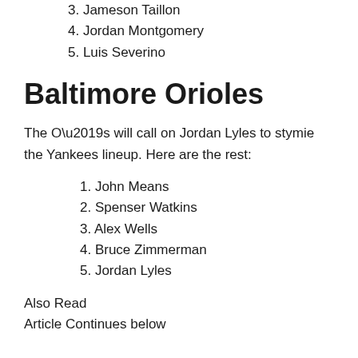3. Jameson Taillon
4. Jordan Montgomery
5. Luis Severino
Baltimore Orioles
The O’s will call on Jordan Lyles to stymie the Yankees lineup. Here are the rest:
1. John Means
2. Spenser Watkins
3. Alex Wells
4. Bruce Zimmerman
5. Jordan Lyles
Also Read
Article Continues below